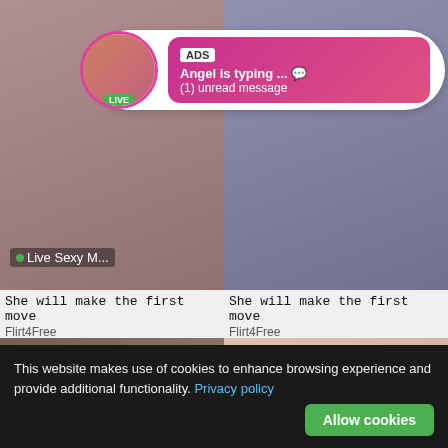[Figure (screenshot): Ad overlay with avatar circle showing LIVE badge, pink gradient bubble with ADS tag, text 'Angel is typing ... 💬' and '(1) unread message']
Live Sexy M...
She will make the first move
Flirt4Free
She will make the first move
Flirt4Free
[Figure (photo): Adult content thumbnail with BLACK badge and info button]
[Figure (photo): Adult content thumbnail with DRIZZLE badge and info button]
This website makes use of cookies to enhance browsing experience and provide additional functionality. Privacy policy
Allow cookies